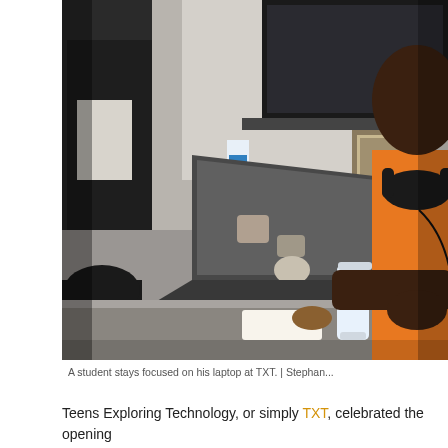[Figure (photo): A young Black male student wearing an orange shirt and headphones around his neck, focused on a laptop computer at a desk. In the background is a yellow rubber duck, a framed picture, shelves, and another person in a dark jacket standing.]
A student stays focused on his laptop at TXT. | Stephan...
Teens Exploring Technology, or simply TXT, celebrated the opening...